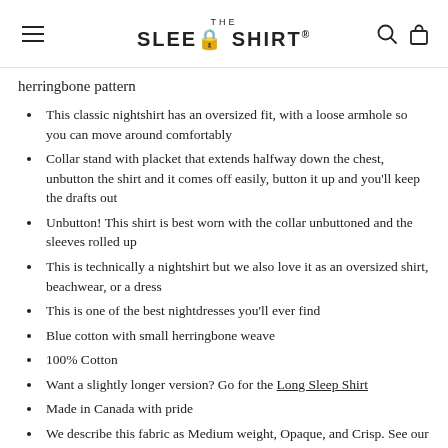THE SLEEP SHIRT®
herringbone pattern
This classic nightshirt has an oversized fit, with a loose armhole so you can move around comfortably
Collar stand with placket that extends halfway down the chest, unbutton the shirt and it comes off easily, button it up and you'll keep the drafts out
Unbutton! This shirt is best worn with the collar unbuttoned and the sleeves rolled up
This is technically a nightshirt but we also love it as an oversized shirt, beachwear, or a dress
This is one of the best nightdresses you'll ever find
Blue cotton with small herringbone weave
100% Cotton
Want a slightly longer version? Go for the Long Sleep Shirt
Made in Canada with pride
We describe this fabric as Medium weight, Opaque, and Crisp. See our Fabric Guide below for more information.